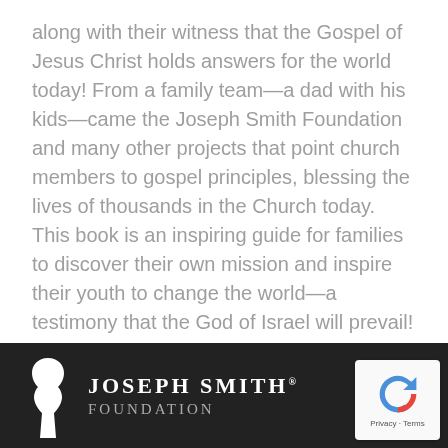along with their witness that the Gospel of Jesus Christ holds answers for the world today! From a family team—a dad with his kids—came the Joseph Smith Foundation and many other projects that point church members to gospel principles, blessing the lives of thousands in the Church today. This book is an inspiring guide for families to discover their own mission and inspire their youth to change the world—a testimony that the God of Israel will prevail!
[Figure (logo): Joseph Smith Foundation logo — white silhouette of Joseph Smith's head/bust profile on the left, with white text 'JOSEPH SMITH® FOUNDATION' in bold serif uppercase letters, displayed on a dark background footer bar.]